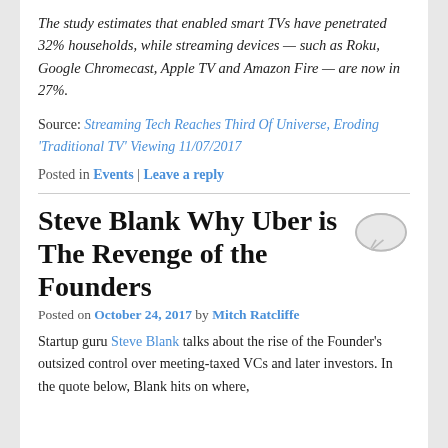The study estimates that enabled smart TVs have penetrated 32% households, while streaming devices — such as Roku, Google Chromecast, Apple TV and Amazon Fire — are now in 27%.
Source: Streaming Tech Reaches Third Of Universe, Eroding 'Traditional TV' Viewing 11/07/2017
Posted in Events | Leave a reply
Steve Blank Why Uber is The Revenge of the Founders
Posted on October 24, 2017 by Mitch Ratcliffe
Startup guru Steve Blank talks about the rise of the Founder's outsized control over meeting-taxed VCs and later investors. In the quote below, Blank hits on where,